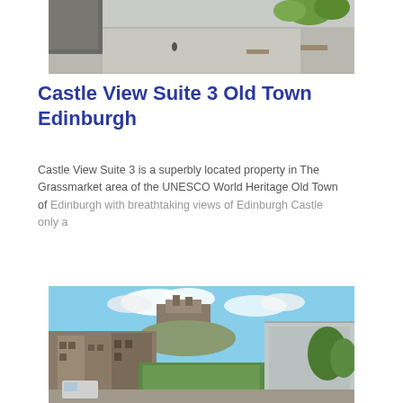[Figure (photo): Aerial or elevated street view of Edinburgh Old Town pedestrian area with benches and trees]
Castle View Suite 3 Old Town Edinburgh
Castle View Suite 3 is a superbly located property in The Grassmarket area of the UNESCO World Heritage Old Town of Edinburgh with breathtaking views of Edinburgh Castle only a
Learn more
[Figure (photo): Exterior view of Edinburgh Old Town buildings with Edinburgh Castle visible in the background and a green courtyard in the foreground]